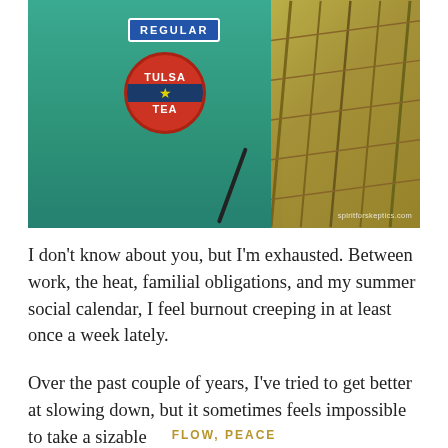[Figure (photo): Photo of a vintage green gas pump with a 'REGULAR' blue rectangular sign and a circular 'TULSA TEA' emblem in red and blue with a star. On the right side is a golden structural/industrial background. Watermark reads 'spiritforskeptics.com'.]
I don't know about you, but I'm exhausted. Between work, the heat, familial obligations, and my summer social calendar, I feel burnout creeping in at least once a week lately.
Over the past couple of years, I've tried to get better at slowing down, but it sometimes feels impossible to take a sizable
CONTINUE READING →
FLOW, PEACE